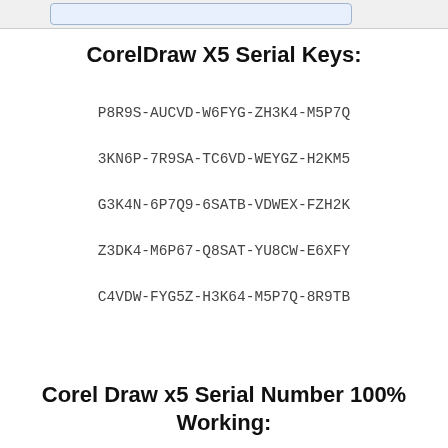CorelDraw X5 Serial Keys:
P8R9S-AUCVD-W6FYG-ZH3K4-M5P7Q
3KN6P-7R9SA-TC6VD-WEYGZ-H2KM5
G3K4N-6P7Q9-6SATB-VDWEX-FZH2K
Z3DK4-M6P67-Q8SAT-YU8CW-E6XFY
C4VDW-FYG5Z-H3K64-M5P7Q-8R9TB
Corel Draw x5 Serial Number 100% Working: